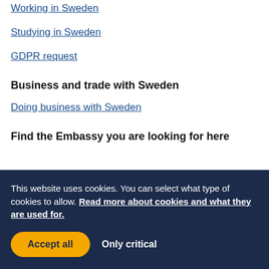Working in Sweden
Studying in Sweden
GDPR request
Business and trade with Sweden
Doing business with Sweden
Find the Embassy you are looking for here
This website uses cookies. You can select what type of cookies to allow. Read more about cookies and what they are used for.
Accept all   Only critical